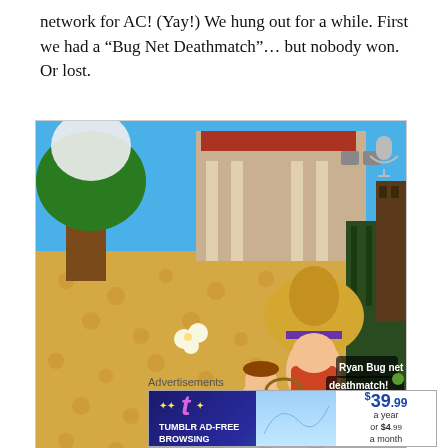network for AC!  (Yay!)  We hung out for a while.  First we had a “Bug Net Deathmatch”… but nobody won.  Or lost.
[Figure (screenshot): Screenshot from Animal Crossing showing two characters with a bug net. An in-game dialog bubble reads: 'Ryan  Bug net deathmatch!']
Advertisements
[Figure (infographic): Tumblr Ad-Free Browsing advertisement banner showing $39.99 a year or $4.99 a month]